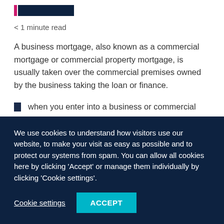[Figure (logo): Company logo bar with pink/magenta and dark navy colored blocks]
< 1 minute read
A business mortgage, also known as a commercial mortgage or commercial property mortgage, is usually taken over the commercial premises owned by the business taking the loan or finance.
when you enter into a business or commercial mortgage there will be various paperwork for you to
We use cookies to understand how visitors use our website, to make your visit as easy as possible and to protect our systems from spam. You can allow all cookies here by clicking 'Accept' or manage them individually by clicking 'Cookie settings'.
Cookie settings   ACCEPT